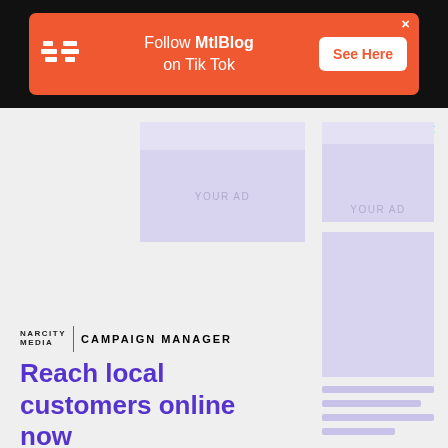[Figure (infographic): Orange banner ad for MtlBlog on TikTok with logo, text 'Follow MtlBlog on Tik Tok' and 'See Here' button]
[Figure (infographic): Gray ad placeholder area with 'YOUR AD' boxes, Narcity Media Campaign Manager logo, 'Reach local customers online now' text, and 'Learn More >' button in dark purple]
Where?
How Much? FREE!